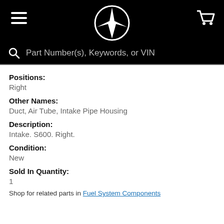[Figure (logo): Mercedes-Benz star logo in white on black header bar with hamburger menu icon on left and shopping cart icon on right]
Part Number(s), Keywords, or VIN
Positions:
Right
Other Names:
Duct, Air Tube, Intake Pipe Housing
Description:
Intake. S600. Right.
Condition:
New
Sold In Quantity:
1
Shop for related parts in Fuel System Components